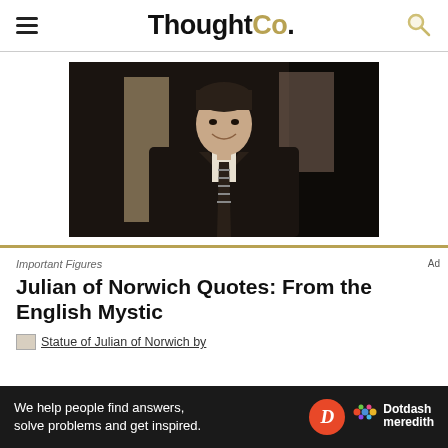ThoughtCo.
[Figure (photo): Black and white photograph of a person wearing a dark jacket and striped tie, smiling, with dark background]
[Figure (photo): Statue of Julian of Norwich - partially visible at bottom, image cropped by ad banner]
Important Figures
Julian of Norwich Quotes: From the English Mystic
Statue of Julian of Norwich by
We help people find answers, solve problems and get inspired. Dotdash meredith